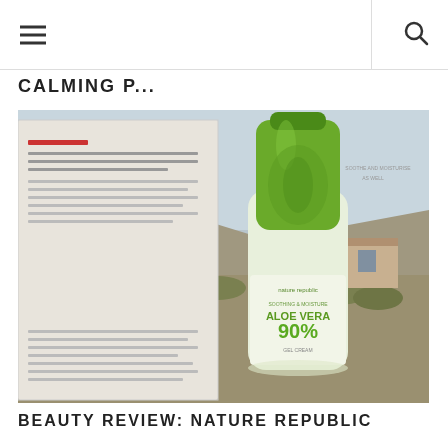Navigation header with hamburger menu and search icon
CALMING P...
[Figure (photo): A green Nature Republic Aloe Vera 90% Soothing & Moisture gel bottle placed on top of an open magazine, with a desert landscape and building visible in the background.]
BEAUTY REVIEW: NATURE REPUBLIC